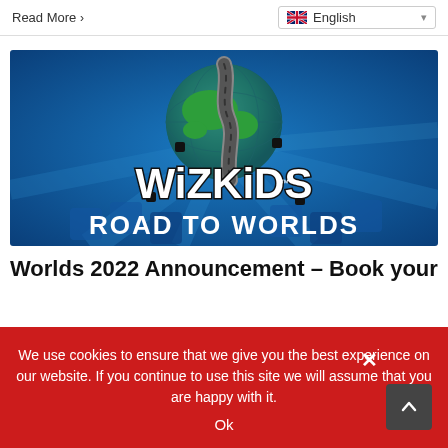Read More >
[Figure (logo): WizKids Road to Worlds banner image with globe and winding road graphic on blue background]
Worlds 2022 Announcement – Book your
We use cookies to ensure that we give you the best experience on our website. If you continue to use this site we will assume that you are happy with it.
Ok